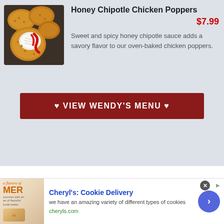Honey Chipotle Chicken Poppers
$7.99
Sweet and spicy honey chipotle sauce adds a savory flavor to our oven-baked chicken poppers.
[Figure (photo): Photo of Honey Chipotle Chicken Poppers — fried chicken pieces with sauce, one broken open showing white chicken interior]
♥ VIEW WENDY'S MENU ♥
[Figure (infographic): Advertisement for Cheryl's Cookie Delivery showing a summer-themed cookie image, text reading 'Cheryl's: Cookie Delivery', description 'we have an amazing variety of different types of cookies', URL 'cheryls.com', and a blue circular arrow button]